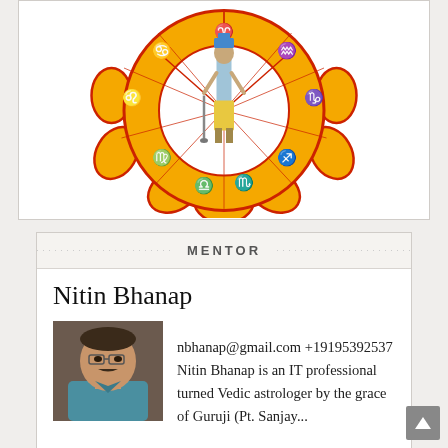[Figure (illustration): Astrology/Vedic zodiac illustration: a deity figure (Vishnu) standing in the center of a yellow lotus/mandala shape with red outline, surrounded by purple zodiac symbols (cancer, leo, virgo, libra, scorpio, sagittarius, capricorn, aquarius, pisces, aries) arranged in segments around the circle.]
MENTOR
Nitin Bhanap
[Figure (photo): Headshot photo of a middle-aged man wearing a teal/blue polo shirt, seated indoors.]
nbhanap@gmail.com +19195392537 Nitin Bhanap is an IT professional turned Vedic astrologer by the grace of Guruji (Pt. Sanjay...